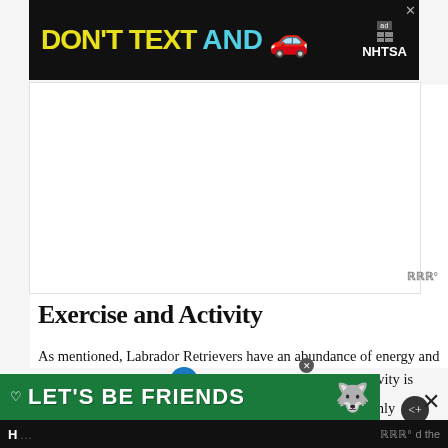[Figure (advertisement): DON'T TEXT AND [car emoji] ad by NHTSA with close button]
Exercise and Activity
As mentioned, Labrador Retrievers have an abundance of energy and are quite intelligent. As such, regular exercise and activity is crucial for the breed. Taking a Lab on regular walks is highly recommended. Do make sure that your pet is secured in a dog harness that properly attach a durable leash to his dog collar to him safe and controlled.
[Figure (advertisement): LET'S BE FRIENDS banner ad with husky dog image and close button]
H... d the